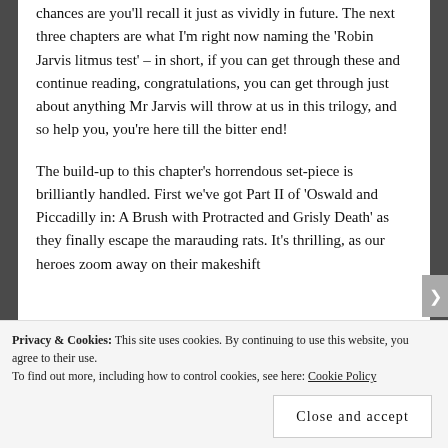chances are you'll recall it just as vividly in future. The next three chapters are what I'm right now naming the 'Robin Jarvis litmus test' – in short, if you can get through these and continue reading, congratulations, you can get through just about anything Mr Jarvis will throw at us in this trilogy, and so help you, you're here till the bitter end!
The build-up to this chapter's horrendous set-piece is brilliantly handled. First we've got Part II of 'Oswald and Piccadilly in: A Brush with Protracted and Grisly Death' as they finally escape the marauding rats. It's thrilling, as our heroes zoom away on their makeshift
Privacy & Cookies: This site uses cookies. By continuing to use this website, you agree to their use.
To find out more, including how to control cookies, see here: Cookie Policy